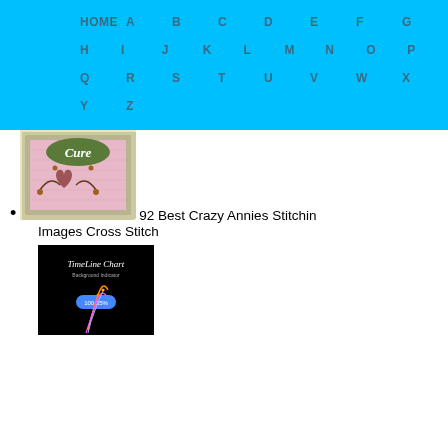HOME A B C D E F G H I J K L M N O P Q R S T U V W X Y Z
92 Best Crazy Annies Stitchin Images Cross Stitch
[Figure (photo): Cross stitch artwork in a frame with 'Cure' text and decorative heart/floral motifs on pink fabric]
[Figure (screenshot): Dark background image showing 'TimeLine Chart' text with colorful chart visualization on black background]